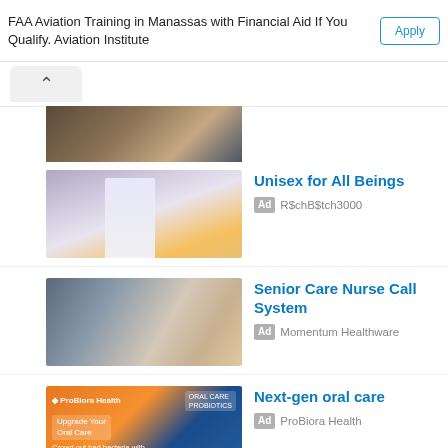FAA Aviation Training in Manassas with Financial Aid If You Qualify. Aviation Institute
[Figure (photo): Cropped image of a laptop on a wooden desk, partially visible at top]
[Figure (photo): Woman with purple hair in white dress standing near yellow ladder]
Unisex for All Beings
Ad R$chB$tch3000
[Figure (photo): Healthcare worker smiling at elderly patient in wheelchair]
Senior Care Nurse Call System
Ad Momentum Healthware
[Figure (photo): ProBiora Health oral care probiotics advertisement with orange and blue background, product bottle]
Next-gen oral care
Ad ProBiora Health
[Figure (photo): Partially visible photo of people in business setting]
Promotional Products Supplier